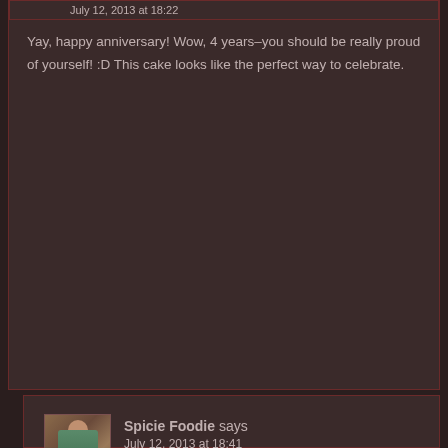Yay, happy anniversary! Wow, 4 years–you should be really proud of yourself! :D This cake looks like the perfect way to celebrate.
Reply
Spicie Foodie says
July 12, 2013 at 18:41